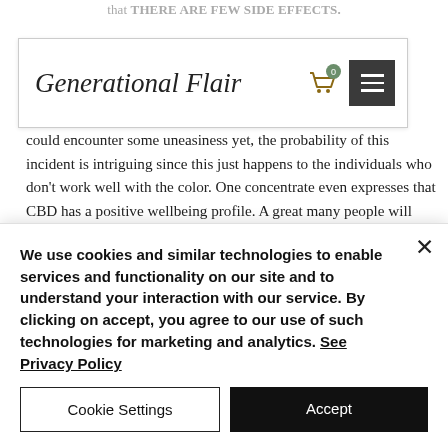that THERE ARE FEW SIDE EFFECTS.
[Figure (screenshot): Website navigation bar with 'Generational Flair' logo in cursive script, shopping cart icon with badge showing 0, and hamburger menu button on dark background]
could encounter some uneasiness yet, the probability of this incident is intriguing since this just happens to the individuals who don't work well with the color. One concentrate even expresses that CBD has a positive wellbeing profile. A great many people will encounter each of the positive advantages with next to no of the negatives. Thus, on the off chance that you are wanting to advance recuperating and more with these regular hemp leaves, click any picture or button on
We use cookies and similar technologies to enable services and functionality on our site and to understand your interaction with our service. By clicking on accept, you agree to our use of such technologies for marketing and analytics. See Privacy Policy
Cookie Settings
Accept